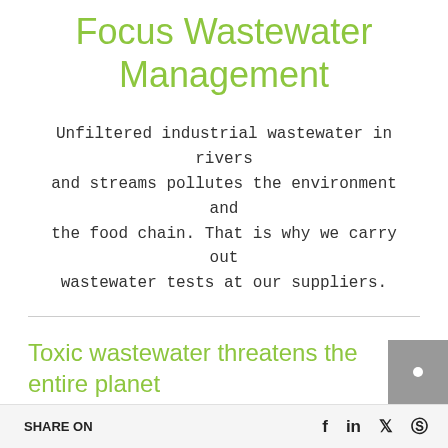Focus Wastewater Management
Unfiltered industrial wastewater in rivers and streams pollutes the environment and the food chain. That is why we carry out wastewater tests at our suppliers.
Toxic wastewater threatens the entire planet
Wastewater from textile manufacturing is currently the
SHARE ON